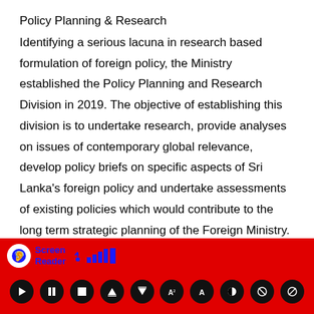Policy Planning & Research
Identifying a serious lacuna in research based formulation of foreign policy, the Ministry established the Policy Planning and Research Division in 2019. The objective of establishing this division is to undertake research, provide analyses on issues of contemporary global relevance, develop policy briefs on specific aspects of Sri Lanka's foreign policy and undertake assessments of existing policies which would contribute to the long term strategic planning of the Foreign Ministry. In the short to medium term, the Policy Planning and Research Division will also work towards formulating a Foreign Policy White Paper. This is expected to be an all-encompassing
[Figure (screenshot): Screen Reader accessibility toolbar on red background with ear icon, signal bars, and playback/control buttons]